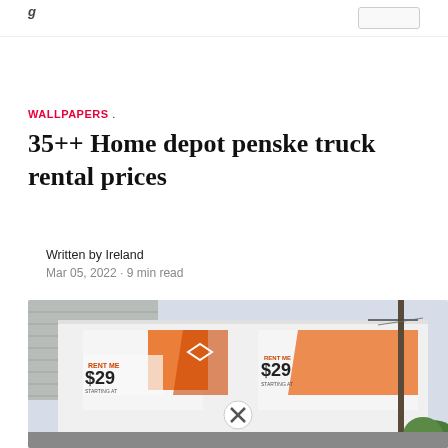WALLPAPERS .
35++ Home depot penske truck rental prices
Written by Ireland
Mar 05, 2022 · 9 min read
[Figure (photo): A white moving truck with orange Home Depot branding showing 'RENT ME $29 STARTING AT' on both sides of the truck, parked near a building with gray siding and power lines visible in background.]